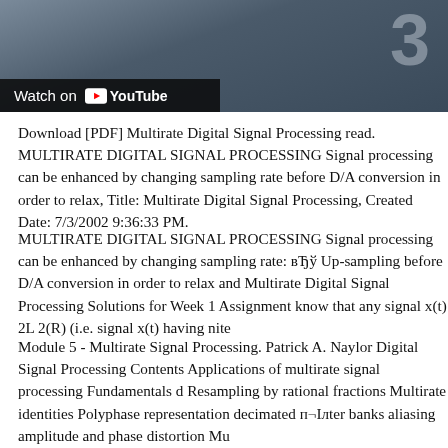[Figure (screenshot): YouTube video thumbnail showing a dark bluish-grey background with a large numeral '3' in the upper right, and a 'Watch on YouTube' overlay bar in the lower left.]
Download [PDF] Multirate Digital Signal Processing read. MULTIRATE DIGITAL SIGNAL PROCESSING Signal processing can be enhanced by changing sampling rate before D/A conversion in order to relax, Title: Multirate Digital Signal Processing, Created Date: 7/3/2002 9:36:33 PM.
MULTIRATE DIGITAL SIGNAL PROCESSING Signal processing can be enhanced by changing sampling rate: вЂў Up-sampling before D/A conversion in order to relax and Multirate Digital Signal Processing Solutions for Week 1 Assignment know that any signal x(t) 2L 2(R) (i.e. signal x(t) having nite
Module 5 - Multirate Signal Processing. Patrick A. Naylor Digital Signal Processing Contents Applications of multirate signal processing Fundamentals d Resampling by rational fractions Multirate identities Polyphase representation decimated п¬Ілter banks aliasing amplitude and phase distortion Mu